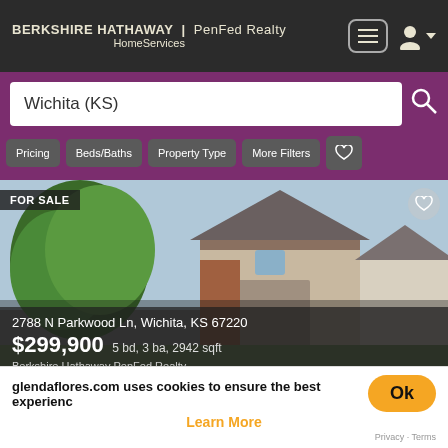BERKSHIRE HATHAWAY | PenFed Realty HomeServices
Wichita (KS)
Pricing
Beds/Baths
Property Type
More Filters
[Figure (photo): House listing photo for 2788 N Parkwood Ln, Wichita, KS 67220 - FOR SALE listing with price $299,900, 5 bd, 3 ba, 2942 sqft, listed by Berkshire Hathaway PenFed Realty]
2788 N Parkwood Ln, Wichita, KS 67220
$299,900 5 bd, 3 ba, 2942 sqft
Berkshire Hathaway PenFed Realty
[Figure (photo): House listing photo for a FOR RENT property - partially visible]
glendaflores.com uses cookies to ensure the best experience
Learn More
Privacy · Terms